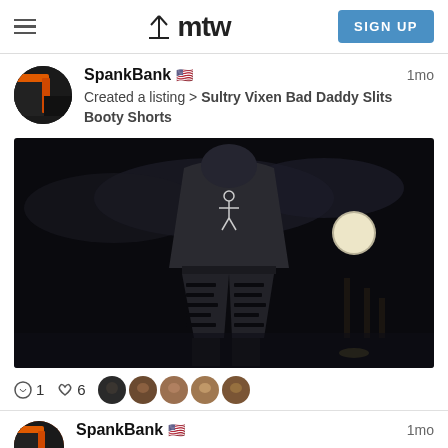mtw  SIGN UP
SpankBank 🇺🇸  1mo
Created a listing > Sultry Vixen Bad Daddy Slits Booty Shorts
[Figure (photo): Person wearing a dark hoodie with a figure print on the back and ripped/slit booty shorts, photographed from behind outdoors at night with a full moon visible in cloudy sky]
1 comment  ♡6  [5 user avatars]
SpankBank 🇺🇸  1mo